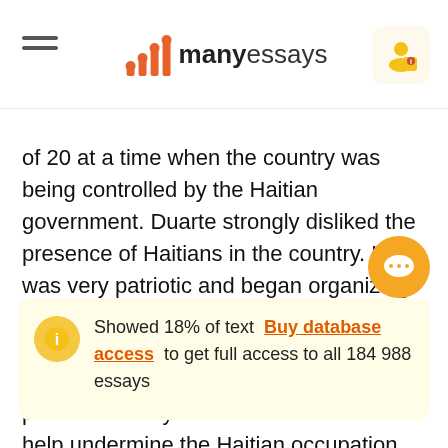manyessays
of 20 at a time when the country was being controlled by the Haitian government. Duarte strongly disliked the presence of Haitians in the country. He was very patriotic and began organizing the historical movement to refuse Haitian control. In 1838 Duarte put together a group call La Trinitaria. It was a secret, patriotic society that was established to help undermine the Haitian occupation...
Showed 18% of text  Buy database access  to get full access to all 184 988 essays